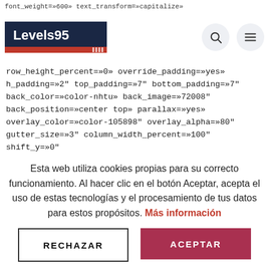font_weight=»600» text_transform=»capitalize»
[Figure (logo): Levels95 logo: dark navy background with white bold text 'Levels95', red stripe underneath with white vertical lines]
row_height_percent=»0» override_padding=»yes» h_padding=»2" top_padding=»7" bottom_padding=»7" back_color=»color-nhtu» back_image=»72008" back_position=»center top» parallax=»yes» overlay_color=»color-105898" overlay_alpha=»80" gutter_size=»3" column_width_percent=»100" shift_y=»0"
Esta web utiliza cookies propias para su correcto funcionamiento. Al hacer clic en el botón Aceptar, acepta el uso de estas tecnologías y el procesamiento de tus datos para estos propósitos. Más información